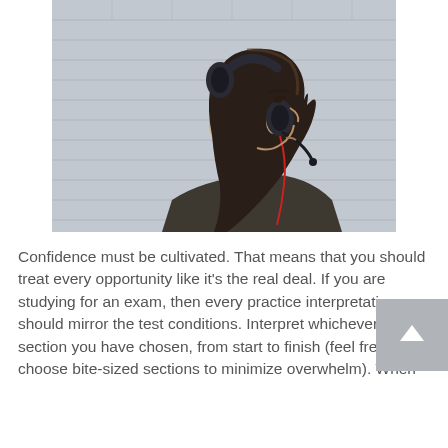[Figure (photo): A woman in profile view wearing over-ear headphones with a microphone attachment, looking upward, with long dark hair, against a white brick wall background. She is wearing a dark jacket.]
Confidence must be cultivated. That means that you should treat every opportunity like it's the real deal. If you are studying for an exam, then every practice interpretation should mirror the test conditions. Interpret whichever section you have chosen, from start to finish (feel free to choose bite-sized sections to minimize overwhelm). When